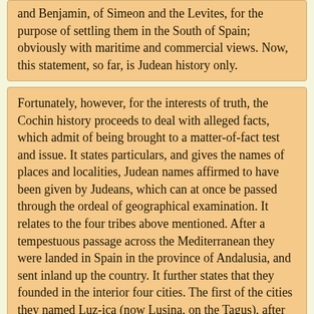and Benjamin, of Simeon and the Levites, for the purpose of settling them in the South of Spain; obviously with maritime and commercial views. Now, this statement, so far, is Judean history only.
Fortunately, however, for the interests of truth, the Cochin history proceeds to deal with alleged facts, which admit of being brought to a matter-of-fact test and issue. It states particulars, and gives the names of places and localities, Judean names affirmed to have been given by Judeans, which can at once be passed through the ordeal of geographical examination. It relates to the four tribes above mentioned. After a tempestuous passage across the Mediterranean they were landed in Spain in the province of Andalusia, and sent inland up the country. It further states that they founded in the interior four cities. The first of the cities they named Luz-ica (now Lusina, on the Tagus), after Luz, in the land of Israel. The next and chief city (the ancient capital of New Castille) they denominated Toletua (Toledo) from the Hebrew term “tultule” in commemoration of the pitching and tossing they had endured in their transit. The other two cities, both adjacent to Toledo, they named Makedda and Ascalon after Makedda, in the land of Israel, and Ascalon, on the